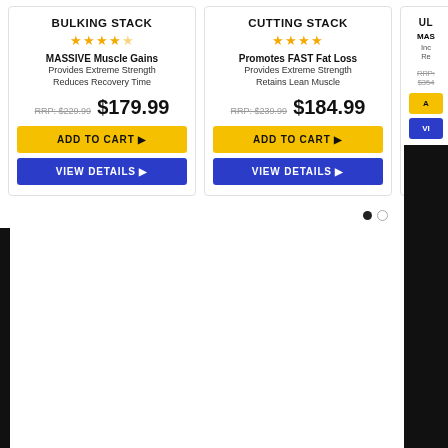BULKING STACK
★★★★½
MASSIVE Muscle Gains
Provides Extreme Strength
Reduces Recovery Time
RRP: $229.99  $179.99
ADD TO CART
VIEW DETAILS
CUTTING STACK
★★★★
Promotes FAST Fat Loss
Provides Extreme Strength
Retains Lean Muscle
RRP: $239.99  $184.99
ADD TO CART
VIEW DETAILS
UL...
MAS...
Inc...
Re...
RRP: $354...
A...
VI...